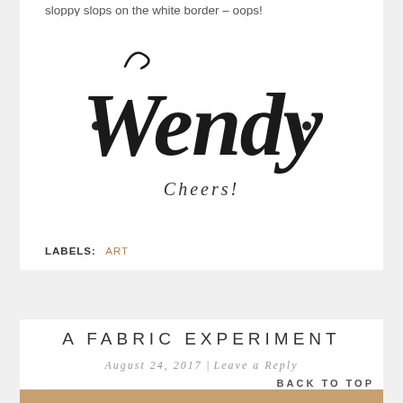sloppy slops on the white border – oops!
[Figure (illustration): Handwritten script signature reading 'Wendy' with decorative dots on either side and 'Cheers!' written below in smaller script]
LABELS: ART
A FABRIC EXPERIMENT
August 24, 2017 | Leave a Reply
BACK TO TOP